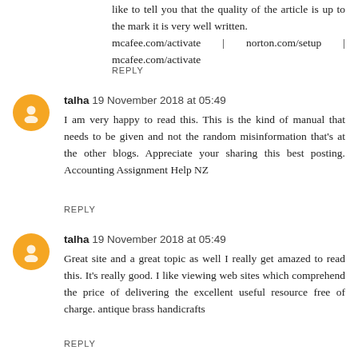like to tell you that the quality of the article is up to the mark it is very well written.
mcafee.com/activate | norton.com/setup | mcafee.com/activate
REPLY
talha  19 November 2018 at 05:49
I am very happy to read this. This is the kind of manual that needs to be given and not the random misinformation that's at the other blogs. Appreciate your sharing this best posting. Accounting Assignment Help NZ
REPLY
talha  19 November 2018 at 05:49
Great site and a great topic as well I really get amazed to read this. It's really good. I like viewing web sites which comprehend the price of delivering the excellent useful resource free of charge. antique brass handicrafts
REPLY